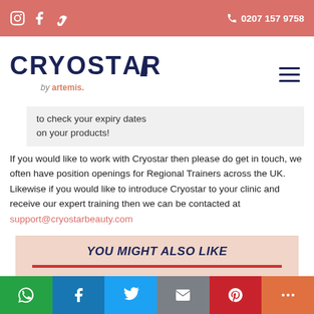Instagram Facebook Vimeo icons | 0207 157 9758
[Figure (logo): CRYOSTAR by artemis. logo with hamburger menu icon]
to check your expiry dates on your products!
If you would like to work with Cryostar then please do get in touch, we often have position openings for Regional Trainers across the UK. Likewise if you would like to introduce Cryostar to your clinic and receive our expert training then we can be contacted at support@cryostarbeauty.com
YOU MIGHT ALSO LIKE
[Figure (photo): Partial product photo at the bottom of the page]
WhatsApp | Facebook | Twitter | Email | Pinterest | More